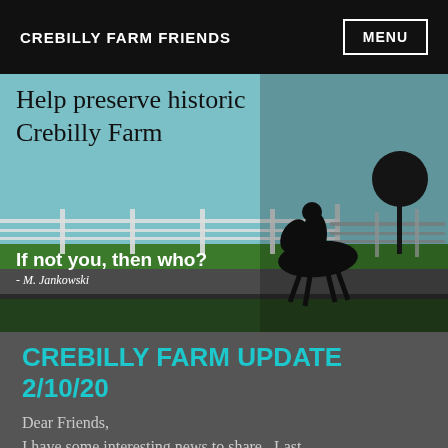CREBILLY FARM FRIENDS
[Figure (photo): Hero banner image showing silhouette of a horse and rider walking along a farm road with white fencing and a blue sky background. Text overlay reads 'Help preserve historic Crebilly Farm' and quote 'If not you, then who? - M. Jankowski']
CREBILLY FARM UPDATE 2/10/20
Dear Friends,
I have some interesting news to share.  Last